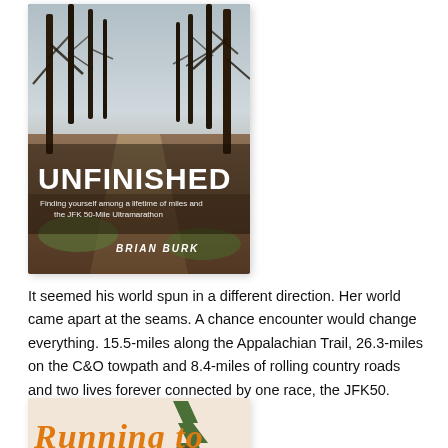[Figure (photo): Book cover of 'UNFINISHED: Finding yourself among a lifetime of miles and the JFK 50-Mile Ultramarathon' by Brian Burk. Shows a forest trail with bare trees in autumn/winter, fallen leaves on ground, dirt path receding into distance. Title in large white bold serif font, subtitle in smaller white text, author name at bottom in white.]
It seemed his world spun in a different direction. Her world came apart at the seams. A chance encounter would change everything. 15.5-miles along the Appalachian Trail, 26.3-miles on the C&O towpath and 8.4-miles of rolling country roads and two lives forever connected by one race, the JFK50.
[Figure (photo): Partial view of a second book cover showing 'Running to' text in orange bold italic serif font with a pine tree graphic. Background is a light pinkish-beige color.]